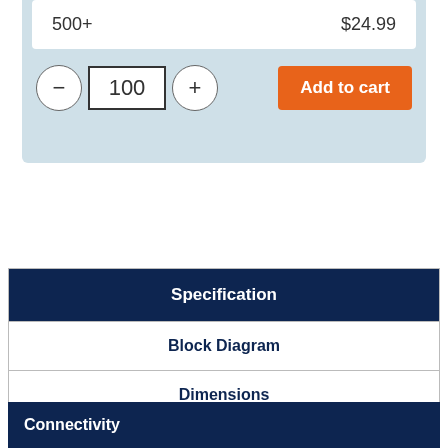| 500+ | $24.99 |
| --- | --- |
[Figure (other): Quantity selector with minus button, input field showing 100, plus button, and orange Add to cart button]
| Specification |
| --- |
| Block Diagram |
| Dimensions |
Connectivity